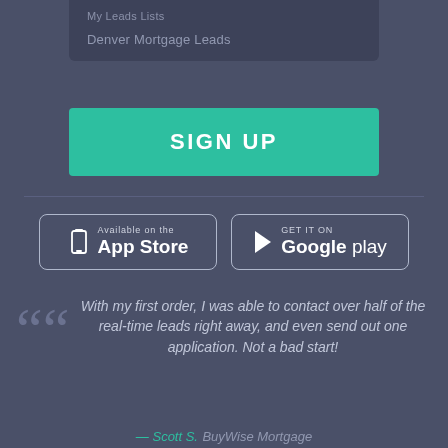[Figure (screenshot): Mobile app screen showing 'My Leads Lists' and 'Denver Mortgage Leads' menu items on a dark background]
SIGN UP
[Figure (other): App Store and Google Play store download buttons]
With my first order, I was able to contact over half of the real-time leads right away, and even send out one application. Not a bad start!
— Scott S. BuyWise Mortgage